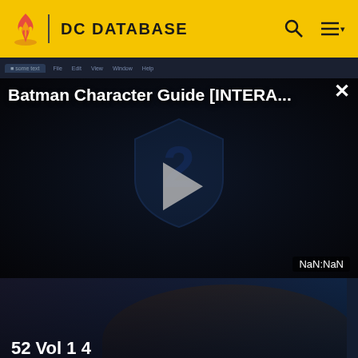DC DATABASE
[Figure (screenshot): Video player showing 'Batman Character Guide [INTERA...' with a DC shield logo and play button. Duration displays NaN:NaN.]
[Figure (photo): Comic card image showing '52 Vol 1 4' by DC Database with a dark comic book cover featuring a figure lying down.]
[Figure (photo): Bottom strip showing colorful comic book artwork, partially visible.]